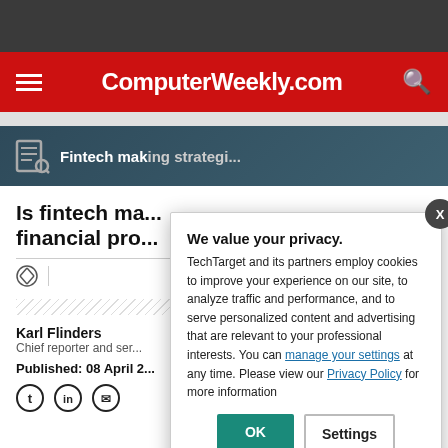ComputerWeekly.com
Fintech mak...
Is fintech ma... financial pro...
Karl Flinders
Chief reporter and ser...
Published: 08 April 2...
We value your privacy.
TechTarget and its partners employ cookies to improve your experience on our site, to analyze traffic and performance, and to serve personalized content and advertising that are relevant to your professional interests. You can manage your settings at any time. Please view our Privacy Policy for more information